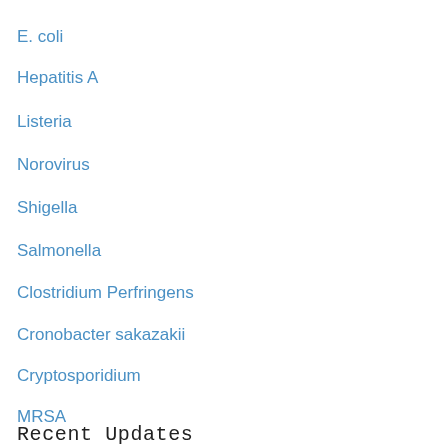E. coli
Hepatitis A
Listeria
Norovirus
Shigella
Salmonella
Clostridium Perfringens
Cronobacter sakazakii
Cryptosporidium
MRSA
Recent Updates